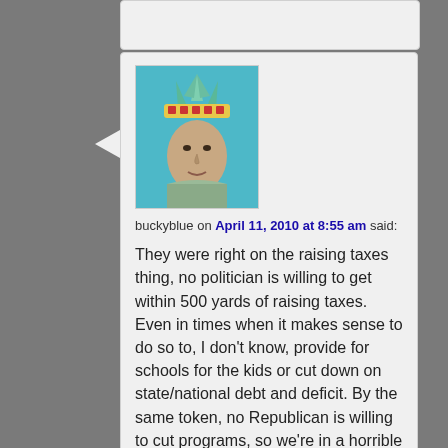[Figure (illustration): Avatar image of Statue of Liberty face with colorful crown]
buckyblue on April 11, 2010 at 8:55 am said:
They were right on the raising taxes thing, no politician is willing to get within 500 yards of raising taxes. Even in times when it makes sense to do so to, I don't know, provide for schools for the kids or cut down on state/national debt and deficit. By the same token, no Republican is willing to cut programs, so we're in a horrible bind, we want the programs that govt. gives but don't want to pay for them. Irresponsibility ensues brought to you not by the left, but by the